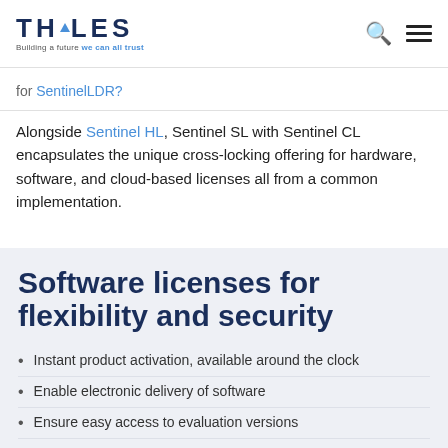THALES — Building a future we can all trust
for SentinelLDR?
Alongside Sentinel HL, Sentinel SL with Sentinel CL encapsulates the unique cross-locking offering for hardware, software, and cloud-based licenses all from a common implementation.
Software licenses for flexibility and security
Instant product activation, available around the clock
Enable electronic delivery of software
Ensure easy access to evaluation versions